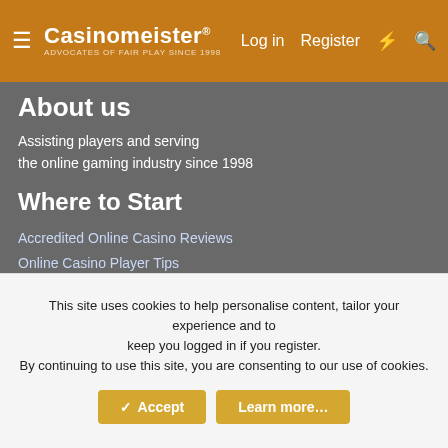Casinomeister® — Advocates of Fair Play since 1998
About us
Assisting players and serving the online gaming industry since 1998
Where to Start
Accredited Online Casino Reviews
Online Casino Player Tips
10 Myths online Gambling
Our Philosophy
Disclaimer
Casinomeister.com does not intend for any of the information contained on this website to be used for illegal purposes. You must ensure you meet
This site uses cookies to help personalise content, tailor your experience and to keep you logged in if you register.
By continuing to use this site, you are consenting to our use of cookies.